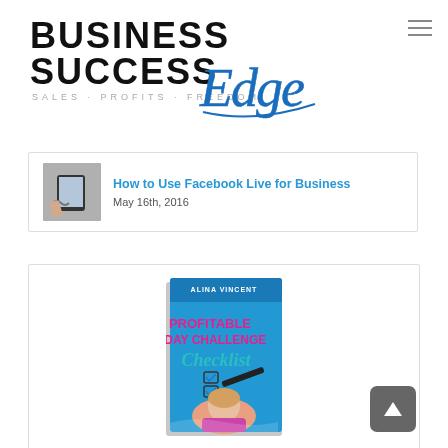[Figure (logo): Business Success Edge logo with text 'BUSINESS SUCCESS' in bold black, tagline 'SALES · PROFITS · FREEDOM' in gray, and 'Edge' in blue cursive script]
[Figure (other): Hamburger menu icon (three horizontal lines) in top right corner]
[Figure (photo): Thumbnail image of hands holding a tablet device]
How to Use Facebook Live for Business
May 16th, 2016
[Figure (photo): Book cover: 'Profitable 5-Day Challenge Checklist' by Alina Vincent, showing a woman in pink and checkboxes]